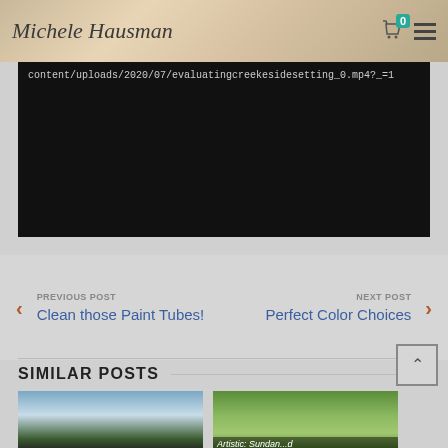Michele Hausman
[Figure (screenshot): Dark video player area showing URL: content/uploads/2020/07/evaluatingcreekesidesetting_0.mp4?_=1]
content/uploads/2020/07/evaluatingcreekesidesetting_0.mp4?_=1
PREVIOUS POST
Clean those Paint Tubes!
NEXT POST
Perfect Color Choices
SIMILAR POSTS
[Figure (photo): Landscape painting thumbnail showing trees and clouds]
[Figure (photo): Landscape painting thumbnail showing green hills with partial caption visible: Artistic: Sundan...d]